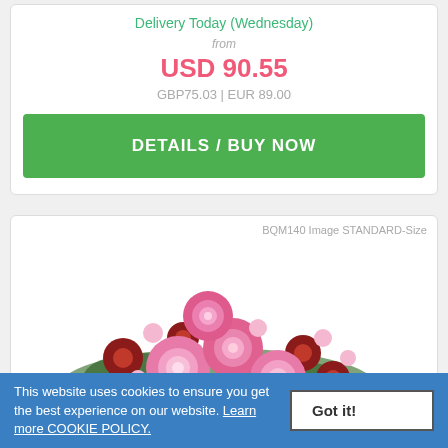Delivery Today (Wednesday)
from
USD 90.55
GBP75.03 | EUR 89.00
DETAILS / BUY NOW
BQM140 Image STANDARD-Size
[Figure (photo): A bouquet of pink roses and dark red flowers with green leaves]
This website uses cookies to ensure you get the best experience on our website. Learn more COOKIE POLICY.